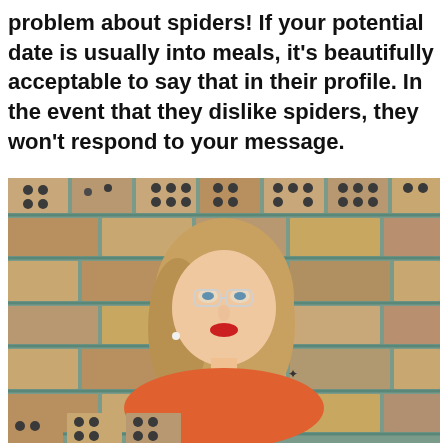problem about spiders! If your potential date is usually into meals, it's beautifully acceptable to say that in their profile. In the event that they dislike spiders, they won't respond to your message.
[Figure (photo): A young woman with blonde hair, glasses, red lipstick, and a shoulder tattoo, wearing an orange top, posing in front of a decorative brick wall with teal-colored joints.]